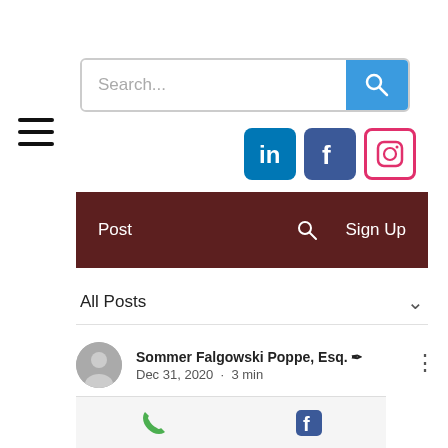[Figure (screenshot): Search bar with text 'Search...' and blue search button icon]
[Figure (infographic): Social media icons: LinkedIn (blue), Facebook (dark blue), Instagram (pink/white)]
Post   🔍   Sign Up
All Posts ∨
Sommer Falgowski Poppe, Esq. ✒
Dec 31, 2020  ·  3 min
Caught Up in Custody? Take one